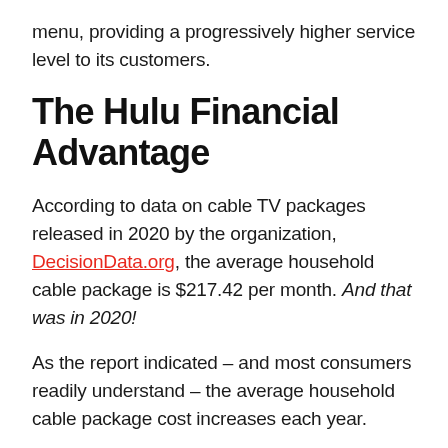menu, providing a progressively higher service level to its customers.
The Hulu Financial Advantage
According to data on cable TV packages released in 2020 by the organization, DecisionData.org, the average household cable package is $217.42 per month. And that was in 2020!
As the report indicated – and most consumers readily understand – the average household cable package cost increases each year.
What makes this information even more remarkable is that the average household is paying more for their cable package than for the combination of all other utilities, including